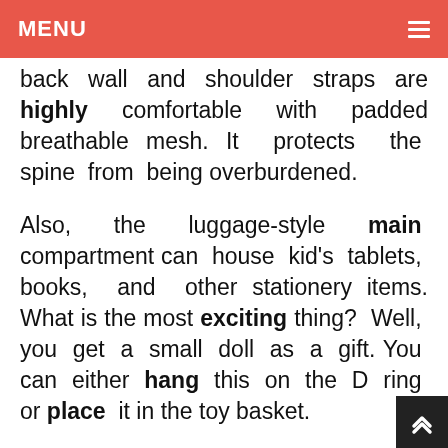MENU
back wall and shoulder straps are highly comfortable with padded breathable mesh. It protects the spine from being overburdened.
Also, the luggage-style main compartment can house kid's tablets, books, and other stationery items. What is the most exciting thing? Well, you get a small doll as a gift. You can either hang this on the D ring or place it in the toy basket.
Furthermore, the front pockets of one of the best school bags for primary school provide an endless organization for sma...